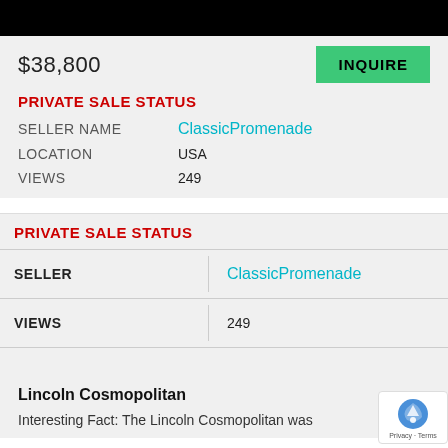[Figure (photo): Black bar at top of page (partial vehicle image)]
$38,800
INQUIRE
PRIVATE SALE STATUS
SELLER NAME    ClassicPromenade
LOCATION    USA
VIEWS    249
PRIVATE SALE STATUS
|  |  |
| --- | --- |
| SELLER | ClassicPromenade |
| VIEWS | 249 |
|  |  |
Lincoln Cosmopolitan
Interesting Fact: The Lincoln Cosmopolitan was